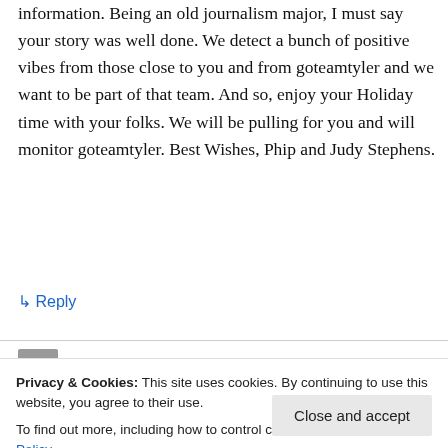information. Being an old journalism major, I must say your story was well done. We detect a bunch of positive vibes from those close to you and from goteamtyler and we want to be part of that team. And so, enjoy your Holiday time with your folks. We will be pulling for you and will monitor goteamtyler. Best Wishes, Phip and Judy Stephens.
↳ Reply
Privacy & Cookies: This site uses cookies. By continuing to use this website, you agree to their use. To find out more, including how to control cookies, see here: Cookie Policy
Close and accept
which is with you all. I know that you are in the